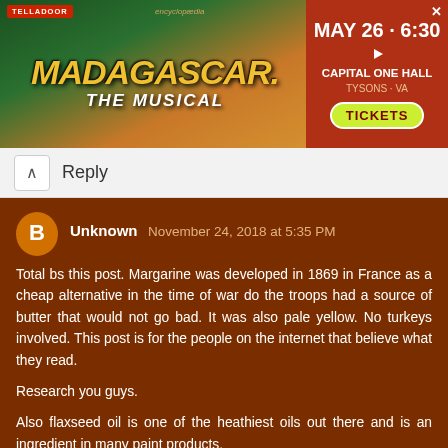[Figure (other): Advertisement banner for Madagascar The Musical at Capital One Hall, Tysons VA on May 26 at 6:30, with a Tickets button]
Reply
Unknown November 24, 2018 at 5:35 PM
Total bs this post. Margarine was developed in 1869 in France as a cheap alternative in the time of war do the troops had a source of butter that would not go bad. It was also pale yellow. No turkeys involved. This post is for the people on the internet that believe what they read.

Research you guys.

Also flaxseed oil is one of the heathiest oils out there and is an ingredient in many paint products.

When you post something get your facts right and don't take everything out of context. Obviously the poster is just like the per sheep. Reads something and takes it as